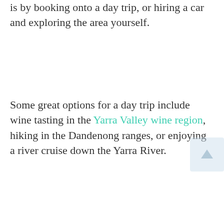is by booking onto a day trip, or hiring a car and exploring the area yourself.
Some great options for a day trip include wine tasting in the Yarra Valley wine region, hiking in the Dandenong ranges, or enjoying a river cruise down the Yarra River.
If, like us, you have a tight budget and booking onto an organised tour is not an option for you, then another great option to get out of the city is to visit the Yarra Bend Park.
The Yarra Bend Park connects with several other parks and reserves via a series of walking and cycling trails